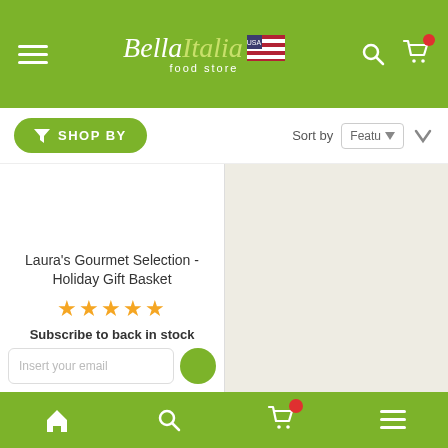Bella Italia food store - header navigation
SHOP BY | Sort by Featu
[Figure (screenshot): Product image area for Laura's Gourmet Selection - Holiday Gift Basket (empty/loading)]
Laura's Gourmet Selection - Holiday Gift Basket
★★★★★
Subscribe to back in stock
Insert your email
Bottom navigation bar with home, search, cart, menu icons